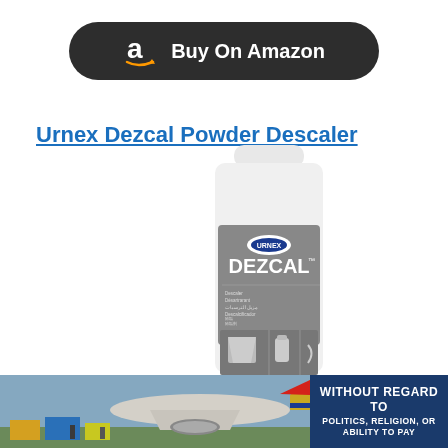[Figure (other): Dark rounded rectangle button with Amazon 'a' logo and text 'Buy On Amazon']
Urnex Dezcal Powder Descaler
[Figure (photo): Urnex Dezcal powder descaler product bottle with grey label showing DEZCAL branding, usage instructions, and net weight 900g (31.7oz)]
[Figure (photo): Banner image showing cargo being loaded into an airplane with text 'WITHOUT REGARD TO POLITICS, RELIGION, OR ABILITY TO PAY']